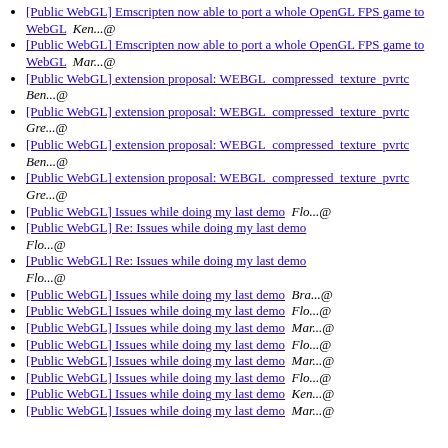[Public WebGL] Emscripten now able to port a whole OpenGL FPS game to WebGL  Ken...@
[Public WebGL] Emscripten now able to port a whole OpenGL FPS game to WebGL  Mar...@
[Public WebGL] extension proposal: WEBGL_compressed_texture_pvrtc  Ben...@
[Public WebGL] extension proposal: WEBGL_compressed_texture_pvrtc  Gre...@
[Public WebGL] extension proposal: WEBGL_compressed_texture_pvrtc  Ben...@
[Public WebGL] extension proposal: WEBGL_compressed_texture_pvrtc  Gre...@
[Public WebGL] Issues while doing my last demo  Flo...@
[Public WebGL] Re: Issues while doing my last demo  Flo...@
[Public WebGL] Re: Issues while doing my last demo  Flo...@
[Public WebGL] Issues while doing my last demo  Bra...@
[Public WebGL] Issues while doing my last demo  Flo...@
[Public WebGL] Issues while doing my last demo  Mar...@
[Public WebGL] Issues while doing my last demo  Flo...@
[Public WebGL] Issues while doing my last demo  Mar...@
[Public WebGL] Issues while doing my last demo  Flo...@
[Public WebGL] Issues while doing my last demo  Ken...@
[Public WebGL] Issues while doing my last demo  Mar...@